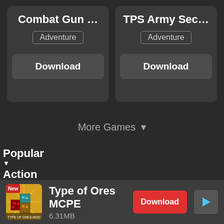Combat Gun …
Adventure
Download
TPS Army Sec…
Adventure
Download
More Games ▾
Popular
Action
Strategy
[Figure (screenshot): App icon for Type of Ores MCPE showing Minecraft-style ore blocks with a 'New' badge]
Type of Ores MCPE
6.31MB
Download